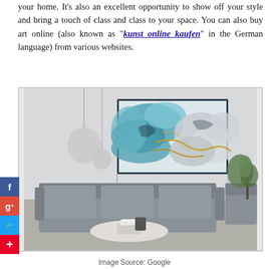your home. It's also an excellent opportunity to show off your style and bring a touch of class and class to your space. You can also buy art online (also known as "kunst online kaufen" in the German language) from various websites.
[Figure (photo): Abstract fluid art painting with teal/blue and gold tones hanging on a wall above a modern grey sofa in a living room setting, with pendant lights and plants visible]
Image Source: Google